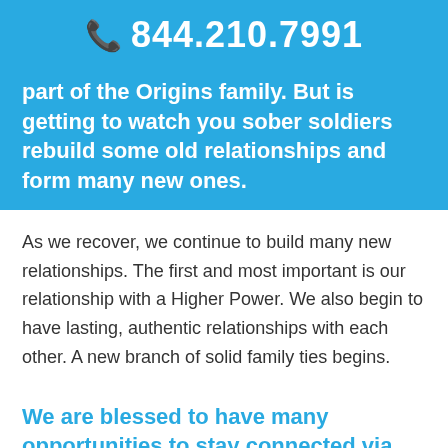844.210.7991
part of the Origins family. But is getting to watch you sober soldiers rebuild some old relationships and form many new ones.
As we recover, we continue to build many new relationships. The first and most important is our relationship with a Higher Power. We also begin to have lasting, authentic relationships with each other. A new branch of solid family ties begins.
We are blessed to have many opportunities to stay connected via Alumni Zoom meetings during the pandemic.